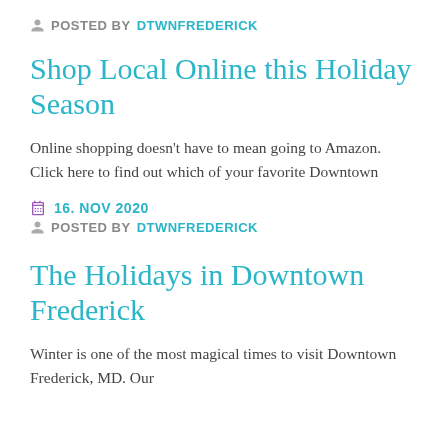POSTED BY DTWNFREDERICK
Shop Local Online this Holiday Season
Online shopping doesn't have to mean going to Amazon. Click here to find out which of your favorite Downtown
16. NOV 2020
POSTED BY DTWNFREDERICK
The Holidays in Downtown Frederick
Winter is one of the most magical times to visit Downtown Frederick, MD. Our